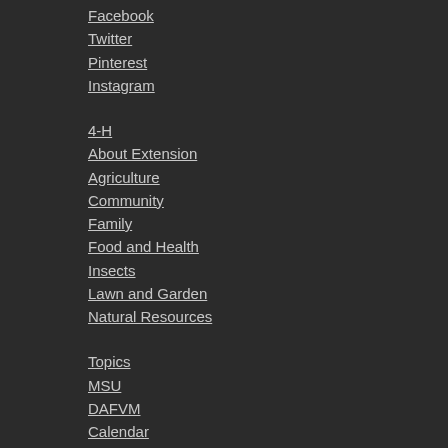Facebook
Twitter
Pinterest
Instagram
4-H
About Extension
Agriculture
Community
Family
Food and Health
Insects
Lawn and Garden
Natural Resources
Topics
MSU
DAFVM
Calendar
Add Event
News
Newsletters
Publications
Shows
County Offices
Extension Units